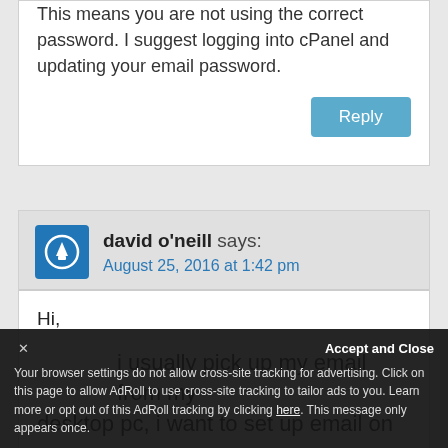This means you are not using the correct password. I suggest logging into cPanel and updating your email password.
Reply
david o'neill says:
August 25, 2016 at 1:42 pm
Hi,

i usually pick up my email from my desktop pc, i want to set up email on my ... settings and doubled checked they are correct. I am
Accept and Close
Your browser settings do not allow cross-site tracking for advertising. Click on this page to allow AdRoll to use cross-site tracking to tailor ads to you. Learn more or opt out of this AdRoll tracking by clicking here. This message only appears once.